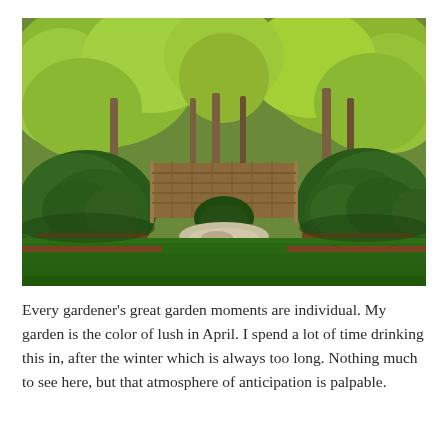[Figure (photo): A lush green formal garden in spring. The foreground shows a manicured lawn with raised rectangular planting beds edged in dark metal, containing large rounded topiary shrubs. A rustic wooden fence or trellis sits in the middle background. Behind it, tall trees with bright lime-green fresh spring foliage fill the upper portion of the image.]
Every gardener's great garden moments are individual.  My garden is the color of lush in April.  I spend a lot of time drinking this in, after the winter which is always too long.  Nothing much to see here,  but that atmosphere of anticipation is palpable.